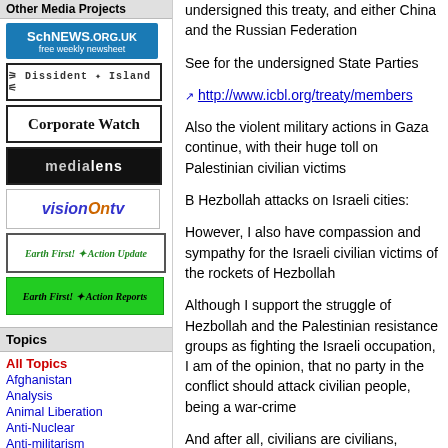Other Media Projects
[Figure (logo): SchNEWS.ORG.UK free weekly newsheet logo - blue background]
[Figure (logo): Dissident Island logo - black and white with figures]
[Figure (logo): Corporate Watch logo - black text on white border]
[Figure (logo): medialens logo - dark background]
[Figure (logo): visionOntv logo - blue and orange text]
[Figure (logo): Earth First! Action Update logo - green text]
[Figure (logo): Earth First! Action Reports logo - green background]
Topics
All Topics
Afghanistan
Analysis
Animal Liberation
Anti-Nuclear
Anti-militarism
Anti-racism
undersigned this treaty, and either China and the Russian Federation
See for the undersigned State Parties
http://www.icbl.org/treaty/members
Also the violent military actions in Gaza continue, with their huge toll on Palestinian civilian victims
B Hezbollah attacks on Israeli cities:
However, I also have compassion and sympathy for the Israeli civilian victims of the rockets of Hezbollah
Although I support the struggle of Hezbollah and the Palestinian resistance groups as fighting the Israeli occupation, I am of the opinion, that no party in the conflict should attack civilian people, being a war-crime
And after all, civilians are civilians, whether Libanese, Palestinian and